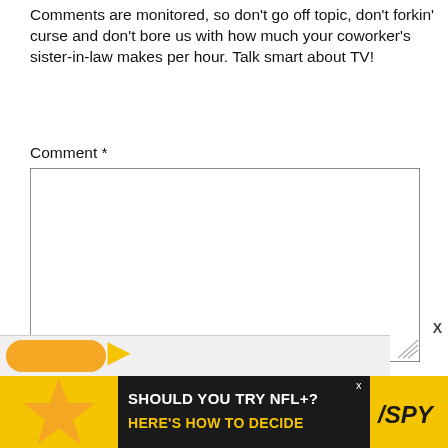Comments are monitored, so don't go off topic, don't forkin' curse and don't bore us with how much your coworker's sister-in-law makes per hour. Talk smart about TV!
Comment *
[Figure (screenshot): Large comment textarea input box]
Name *
[Figure (screenshot): Name text input field]
Email *
[Figure (screenshot): Email text input field]
Website
[Figure (screenshot): Website text input field]
Notify me of follow-up comments by email.
[Figure (screenshot): Post Comment button]
[Figure (screenshot): Partial orange overlay element with arrow]
[Figure (infographic): Advertisement banner: SHOULD YOU TRY NFL+? HERE'S HOW TO DECIDE with SPY logo]